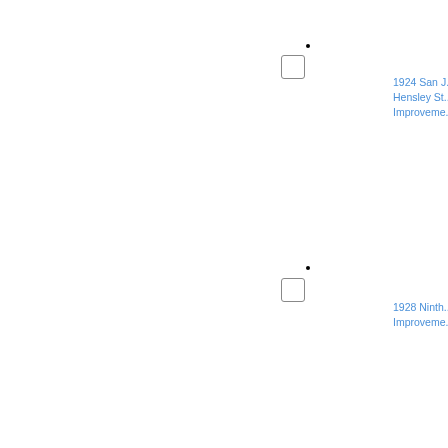[Figure (other): Map marker dot near top center]
[Figure (other): Checkbox near top center]
1924 San J... Hensley St... Improveme...
[Figure (other): Map marker dot near lower center]
[Figure (other): Checkbox near lower center]
1928 Ninth... Improveme...